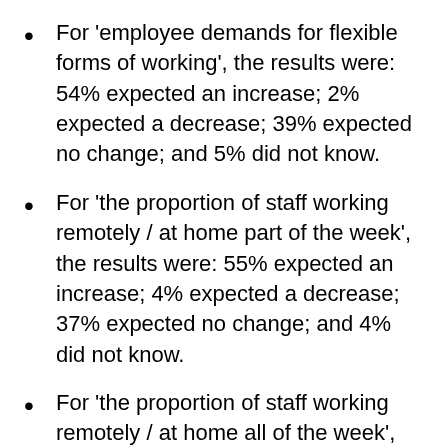For 'employee demands for flexible forms of working', the results were: 54% expected an increase; 2% expected a decrease; 39% expected no change; and 5% did not know.
For 'the proportion of staff working remotely / at home part of the week', the results were: 55% expected an increase; 4% expected a decrease; 37% expected no change; and 4% did not know.
For 'the proportion of staff working remotely / at home all of the week', the results were: 49% expected an increase; 5% expected a decrease; 42% expected no change; and 4% did not know.